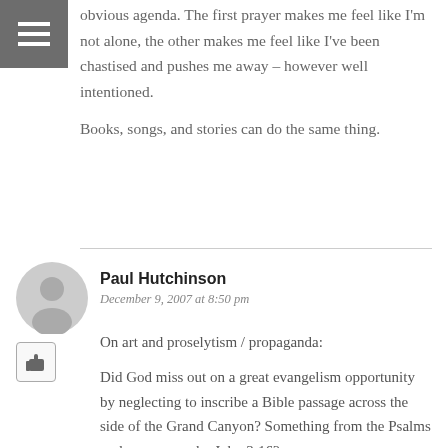obvious agenda. The first prayer makes me feel like I'm not alone, the other makes me feel like I've been chastised and pushes me away – however well intentioned.

Books, songs, and stories can do the same thing.
Paul Hutchinson
December 9, 2007 at 8:50 pm
On art and proselytism / propaganda:

Did God miss out on a great evangelism opportunity by neglecting to inscribe a Bible passage across the side of the Grand Canyon? Something from the Psalms perhaps, or maybe John 3:16?